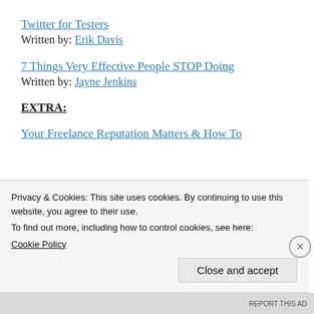Twitter for Testers
Written by: Erik Davis
7 Things Very Effective People STOP Doing
Written by: Jayne Jenkins
EXTRA:
Your Freelance Reputation Matters & How To Improve It
Privacy & Cookies: This site uses cookies. By continuing to use this website, you agree to their use.
To find out more, including how to control cookies, see here:
Cookie Policy
Close and accept